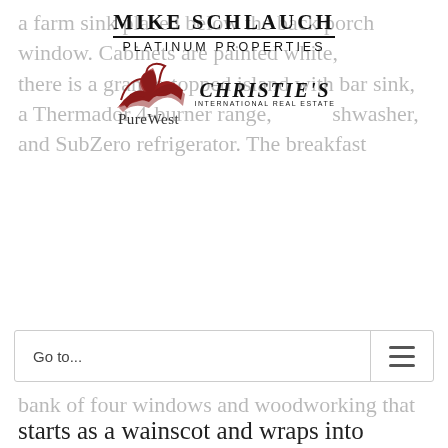a farm sink placed below the back porch window. Cabinets are painted white, there is a granite-topped island with bar sink, a Thermador 4-burner range, dishwasher, and SubZero refrigerator. The breakfast
[Figure (logo): Mike Schlauch Platinum Properties / PureWest / Christie's International Real Estate logo]
Go to...
bank of four windows and woodworking that
starts as a wainscot and wraps into shelving. A hallway from the breakfast room leads to the laundry room and a charming powder room that has a refitted toilette from 1896.
The kitchen accesses a back â€œservantsâ€ staircase to the second floor. It also has a mudroom that connects to a back covered porch and the very spacious fenced yard with entertaining patio, perennial